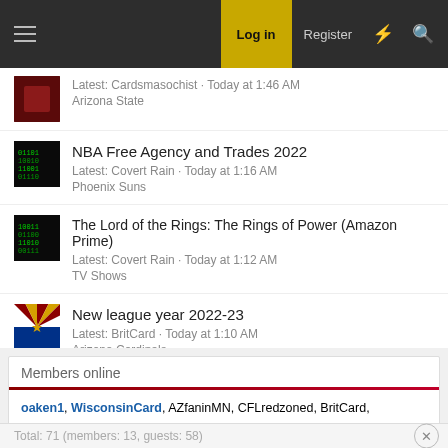Log in | Register
Latest: Cardsmasochist · Today at 1:46 AM
Arizona State
NBA Free Agency and Trades 2022
Latest: Covert Rain · Today at 1:16 AM
Phoenix Suns
The Lord of the Rings: The Rings of Power (Amazon Prime)
Latest: Covert Rain · Today at 1:12 AM
TV Shows
New league year 2022-23
Latest: BritCard · Today at 1:10 AM
Arizona Cardinals
Members online
oaken1, WisconsinCard, AZfaninMN, CFLredzoned, BritCard,
LittleDavis, speedy, DaHilg, bankybruce, juza76, Phrazbit
Total: 71 (members: 13, guests: 58)